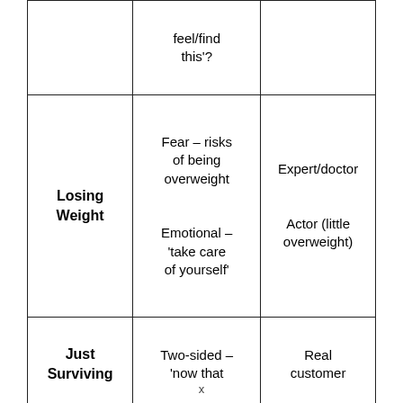|  | feel/find this'? |  |
| --- | --- | --- |
| Losing Weight | Fear – risks of being overweight

Emotional – 'take care of yourself' | Expert/doctor

Actor (little overweight) |
| Just Surviving | Two-sided – 'now that | Real customer |
x